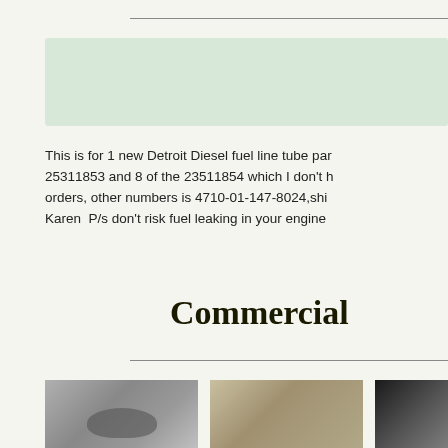[Figure (other): Light green background banner/box element]
This is for 1 new Detroit Diesel fuel line tube par... 25311853 and 8 of the 23511854 which I don't h... orders, other numbers is 4710-01-147-8024,shi... Karen  P/s don't risk fuel leaking in your engine ...
Commercial
[Figure (photo): Photo of a mechanical part, appears to be an engine component, metallic silver/grey]
[Figure (photo): Photo of parts laid out on bubble wrap packaging, includes flat plates and small hardware]
[Figure (photo): Partial photo, dark background with a mechanical part visible]